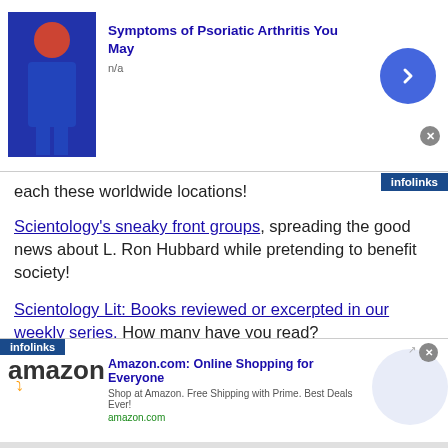[Figure (screenshot): Top advertisement banner for Psoriatic Arthritis symptoms with a photo of a person in blue outfit, title 'Symptoms of Psoriatic Arthritis You May', subtitle 'n/a', blue arrow button, close X button, infolinks badge]
each these worldwide locations!
Scientology's sneaky front groups, spreading the good news about L. Ron Hubbard while pretending to benefit society!
Scientology Lit: Books reviewed or excerpted in our weekly series. How many have you read?
————————
[Figure (screenshot): Bottom advertisement banner for Amazon.com: Online Shopping for Everyone, with Amazon logo, description 'Shop at Amazon. Free Shipping with Prime. Best Deals Ever!', amazon.com URL, blue arrow button, close X button, infolinks badge]